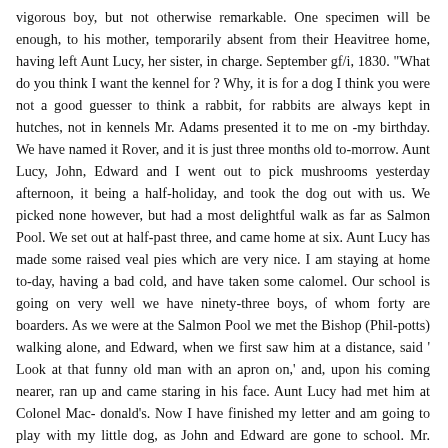vigorous boy, but not otherwise remarkable. One specimen will be enough, to his mother, temporarily absent from their Heavitree home, having left Aunt Lucy, her sister, in charge. September gf/i, 1830. "What do you think I want the kennel for ? Why, it is for a dog I think you were not a good guesser to think a rabbit, for rabbits are always kept in hutches, not in kennels Mr. Adams presented it to me on -my birthday. We have named it Rover, and it is just three months old to-morrow. Aunt Lucy, John, Edward and I went out to pick mushrooms yesterday afternoon, it being a half-holiday, and took the dog out with us. We picked none however, but had a most delightful walk as far as Salmon Pool. We set out at half-past three, and came home at six. Aunt Lucy has made some raised veal pies which are very nice. I am staying at home to-day, having a bad cold, and have taken some calomel. Our school is going on very well we have ninety-three boys, of whom forty are boarders. As we were at the Salmon Pool we met the Bishop (Philpotts) walking alone, and Edward, when we first saw him at a distance, said ' Look at that funny old man with an apron on,' and, upon his coming nearer, ran up and came staring in his face. Aunt Lucy had met him at Colonel Mac- donald's. Now I have finished my letter and am going to play with my little dog, as John and Edward are gone to school. Mr. Tucker thinks it is a mongrel, but I say he is very much mistaken." 8 LIFE OF BISHOP FRASER. PART L. The letters of this period, of which this is a fair specimen, leave the impression that the writer was young of his age.